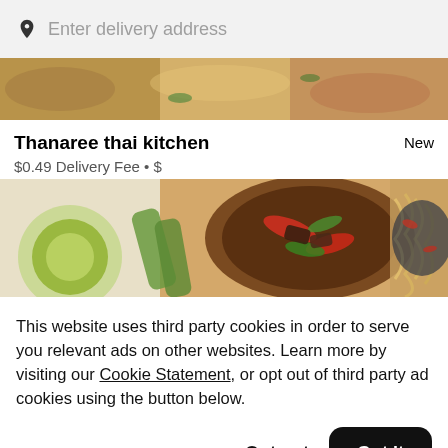Enter delivery address
[Figure (photo): Thai food dishes - top partial banner image]
Thanaree thai kitchen
New
$0.49 Delivery Fee • $
[Figure (photo): Thai food dishes including stir fry and noodles in bowls]
This website uses third party cookies in order to serve you relevant ads on other websites. Learn more by visiting our Cookie Statement, or opt out of third party ad cookies using the button below.
Opt out
Got it